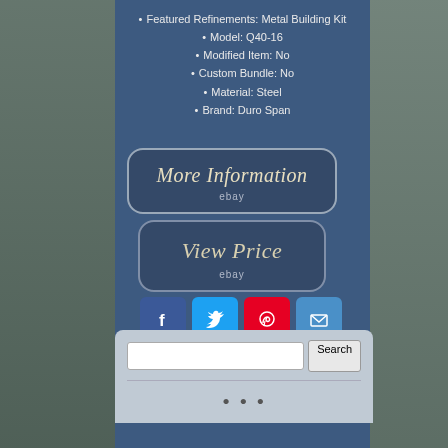Featured Refinements: Metal Building Kit
Model: Q40-16
Modified Item: No
Custom Bundle: No
Material: Steel
Brand: Duro Span
[Figure (screenshot): More Information button linking to eBay]
[Figure (screenshot): View Price button linking to eBay]
[Figure (infographic): Social media sharing buttons: Facebook, Twitter, Pinterest, Email]
[Figure (screenshot): Search bar with Search button and partial text below]